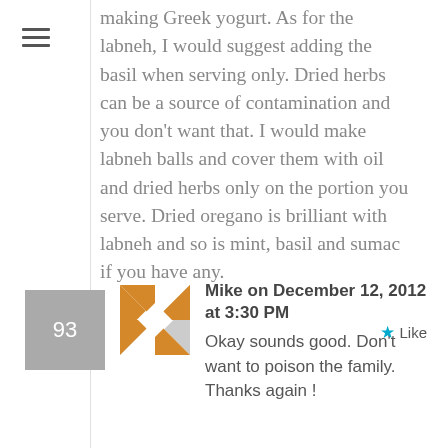making Greek yogurt. As for the labneh, I would suggest adding the basil when serving only. Dried herbs can be a source of contamination and you don't want that. I would make labneh balls and cover them with oil and dried herbs only on the portion you serve. Dried oregano is brilliant with labneh and so is mint, basil and sumac if you have any.
93
[Figure (illustration): Decorative geometric pinwheel/quilt block avatar icon in orange and white]
Mike on December 12, 2012 at 3:30 PM
Okay sounds good. Don't want to poison the family. Thanks again !